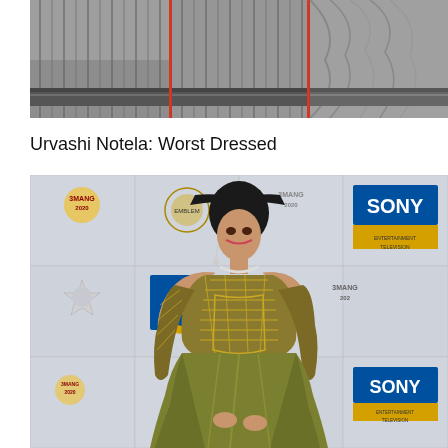[Figure (photo): Top portion showing a grey saree spread against a red background, displayed in three adjacent panels]
Urvashi Notela: Worst Dressed
[Figure (photo): Urvashi Notela in a gold/olive embellished cold-shoulder gown at Umang 2020 event, posing in front of a Sony Entertainment Television step-and-repeat backdrop]